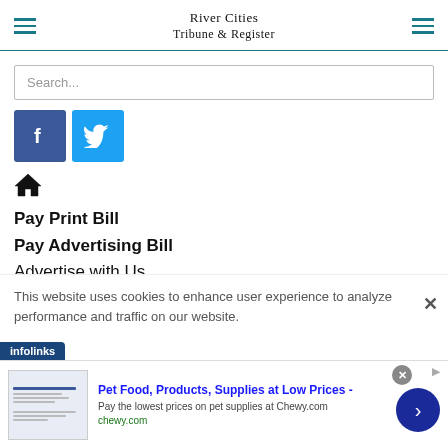River Cities Tribune & Register
Search...
[Figure (logo): Facebook and Twitter social media icon buttons]
Home icon
Pay Print Bill
Pay Advertising Bill
Advertise with Us
This website uses cookies to enhance user experience to analyze performance and traffic on our website.
infolinks
Pet Food, Products, Supplies at Low Prices - Pay the lowest prices on pet supplies at Chewy.com chewy.com